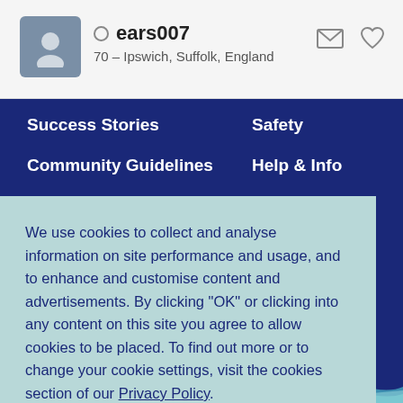ears007
70 – Ipswich, Suffolk, England
Success Stories
Community Guidelines
Contact Us
Safety
Help & Info
Privacy Policy
We use cookies to collect and analyse information on site performance and usage, and to enhance and customise content and advertisements. By clicking "OK" or clicking into any content on this site you agree to allow cookies to be placed. To find out more or to change your cookie settings, visit the cookies section of our Privacy Policy.
OK